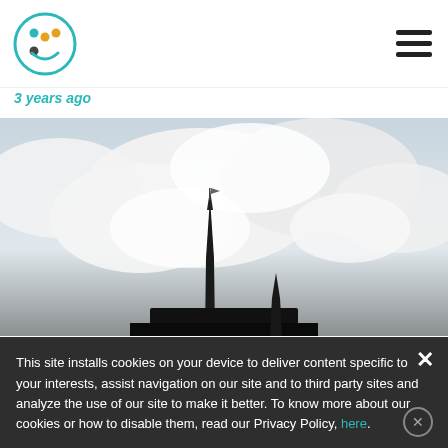Logo and navigation header
3 years ago
[Figure (photo): Photograph of a church steeple or spire against a bright cloudy sky with dramatic white clouds.]
This site installs cookies on your device to deliver content specific to your interests, assist navigation on our site and to third party sites and analyze the use of our site to make it better. To know more about our cookies or how to disable them, read our Privacy Policy, here.